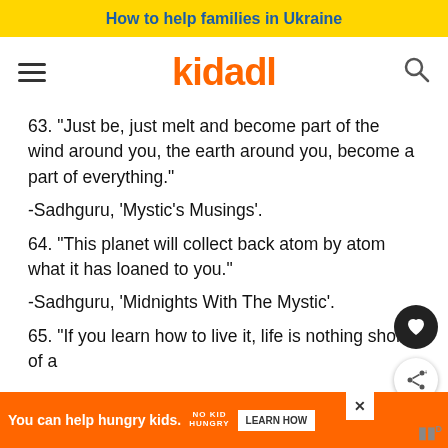How to help families in Ukraine
[Figure (logo): Kidadl logo with hamburger menu and search icon]
63. "Just be, just melt and become part of the wind around you, the earth around you, become a part of everything."
-Sadhguru, 'Mystic's Musings'.
64. "This planet will collect back atom by atom what it has loaned to you."
-Sadhguru, 'Midnights With The Mystic'.
65. "If you learn how to live it, life is nothing short of a
You can help hungry kids. NO KID HUNGRY LEARN HOW